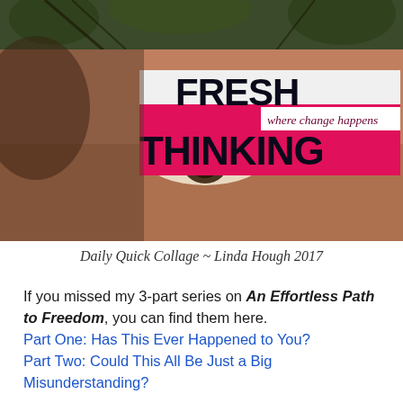[Figure (illustration): Collage artwork showing a close-up of a person's face/eye with overlaid text reading 'FRESH THINKING where change happens' on a white and pink banner]
Daily Quick Collage ~ Linda Hough 2017
If you missed my 3-part series on An Effortless Path to Freedom, you can find them here.
Part One: Has This Ever Happened to You?
Part Two: Could This All Be Just a Big Misunderstanding?